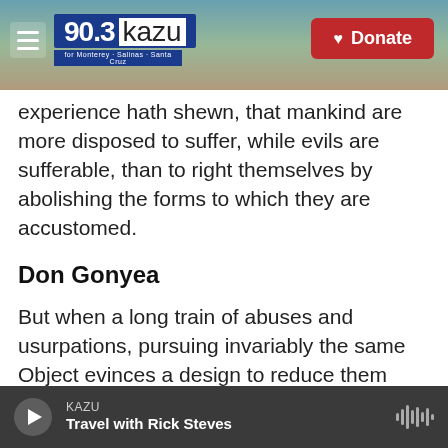90.3 KAZU — for Monterey · Salinas · Santa Cruz | Donate
experience hath shewn, that mankind are more disposed to suffer, while evils are sufferable, than to right themselves by abolishing the forms to which they are accustomed.
Don Gonyea
But when a long train of abuses and usurpations, pursuing invariably the same Object evinces a design to reduce them under absolute Despotism, it is their right, it is their duty, to throw off such Government, and to provide new Guards for their future security.—
KAZU — Travel with Rick Steves